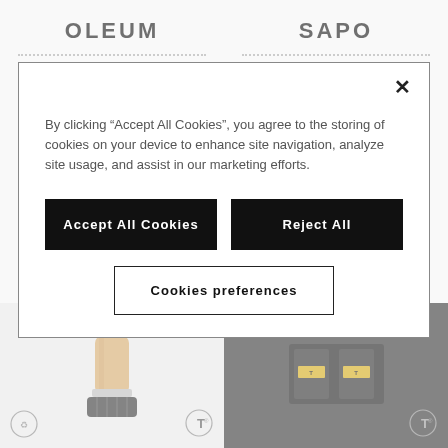OLEUM
SAPO
BEARD OIL
BEARD HYDRATING SHAMPOO
[Figure (screenshot): Cookie consent modal overlay with Accept All Cookies, Reject All, and Cookies preferences buttons on a product comparison page]
By clicking “Accept All Cookies”, you agree to the storing of cookies on your device to enhance site navigation, analyze site usage, and assist in our marketing efforts.
Accept All Cookies
Reject All
Cookies preferences